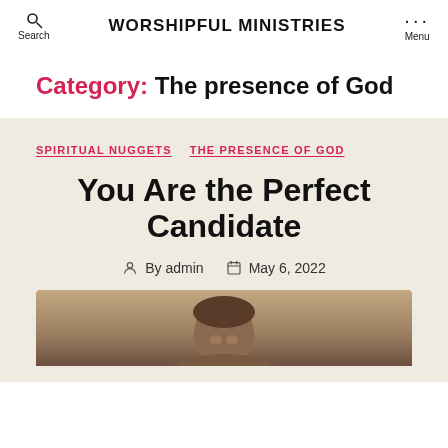WORSHIPFUL MINISTRIES
Category: The presence of God
SPIRITUAL NUGGETS
THE PRESENCE OF GOD
You Are the Perfect Candidate
By admin   May 6, 2022
[Figure (photo): A sepia-toned portrait photograph of a person, partially visible at the bottom of the page.]